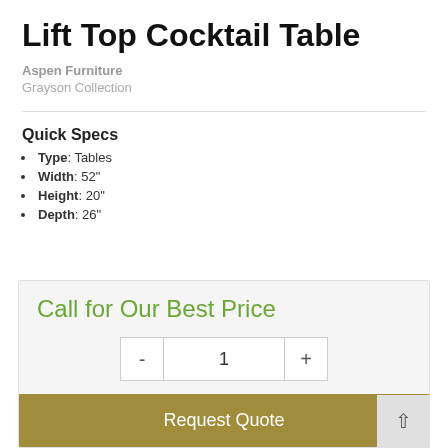Lift Top Cocktail Table
Aspen Furniture
Grayson Collection
Quick Specs
Type: Tables
Width: 52"
Height: 20"
Depth: 26"
Call for Our Best Price
Request Quote